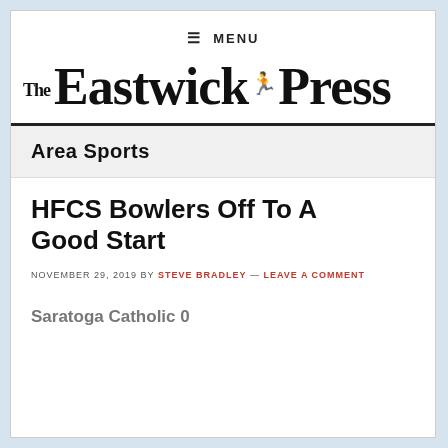≡ MENU
The Eastwick Press
Area Sports
HFCS Bowlers Off To A Good Start
NOVEMBER 29, 2019 BY STEVE BRADLEY — LEAVE A COMMENT
Saratoga Catholic 0